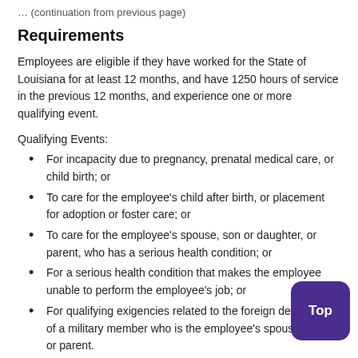Requirements
Employees are eligible if they have worked for the State of Louisiana for at least 12 months, and have 1250 hours of service in the previous 12 months, and experience one or more qualifying event.
Qualifying Events:
For incapacity due to pregnancy, prenatal medical care, or child birth; or
To care for the employee's child after birth, or placement for adoption or foster care; or
To care for the employee's spouse, son or daughter, or parent, who has a serious health condition; or
For a serious health condition that makes the employee unable to perform the employee's job; or
For qualifying exigencies related to the foreign deployment of a military member who is the employee's spouse, child, or parent.
An eligible employee who is a covered service member's spouse, child, parent, or next of kin may also take up to 26 weeks of FMLA leave in a single 12-month period to care for the service member with a serious injury or illness.